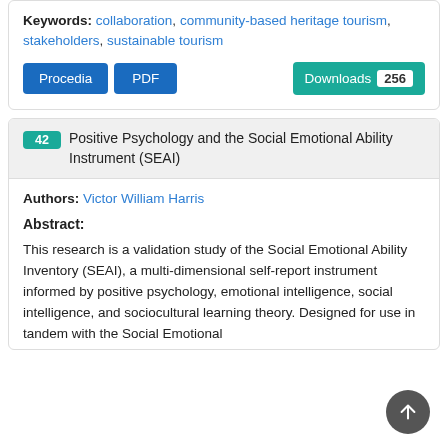Keywords: collaboration, community-based heritage tourism, stakeholders, sustainable tourism
[Figure (screenshot): Two blue buttons labeled Procedia and PDF, and a teal Downloads button showing count 256]
42 Positive Psychology and the Social Emotional Ability Instrument (SEAI)
Authors: Victor William Harris
Abstract:
This research is a validation study of the Social Emotional Ability Inventory (SEAI), a multi-dimensional self-report instrument informed by positive psychology, emotional intelligence, social intelligence, and sociocultural learning theory. Designed for use in tandem with the Social Emotional